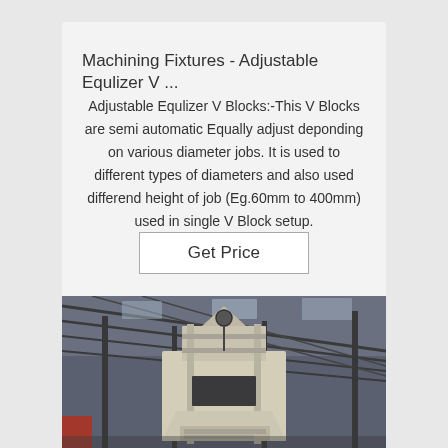Machining Fixtures - Adjustable Equlizer V ...
Adjustable Equlizer V Blocks:-This V Blocks are semi automatic Equally adjust deponding on various diameter jobs. It is used to different types of diameters and also used differend height of job (Eg.60mm to 400mm) used in single V Block setup.
Get Price
[Figure (photo): Industrial machinery (appears to be a concrete mixer or similar heavy equipment) inside a factory/warehouse with steel roof structure. The machine is cream/white colored and photographed from below looking upward.]